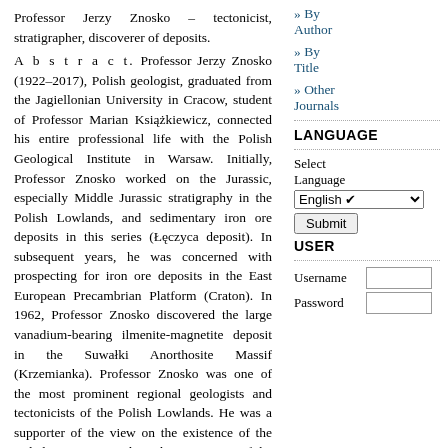Professor Jerzy Znosko – tectonicist, stratigrapher, discoverer of deposits.
A b s t r a c t. Professor Jerzy Znosko (1922–2017), Polish geologist, graduated from the Jagiellonian University in Cracow, student of Professor Marian Książkiewicz, connected his entire professional life with the Polish Geological Institute in Warsaw. Initially, Professor Znosko worked on the Jurassic, especially Middle Jurassic stratigraphy in the Polish Lowlands, and sedimentary iron ore deposits in this series (Łęczyca deposit). In subsequent years, he was concerned with prospecting for iron ore deposits in the East European Precambrian Platform (Craton). In 1962, Professor Znosko discovered the large vanadium-bearing ilmenite-magnetite deposit in the Suwałki Anorthosite Massif (Krzemianka). Professor Znosko was one of the most prominent regional geologists and tectonicists of the Polish Lowlands. He was a supporter of the view on the existence of the Caledonian Orogen along the SW margin of the East European Precambrian Platform (Craton) (so-called circum-Fennoscandian branch of the Caledonides), and was developing this idea for a long time. Results of his research have found their manifestations on international tectonic maps of Europe, including the 1998 Tectonic Atlas of Poland, being his crowning achievement.
» By Author
» By Title
» Other Journals
LANGUAGE
Select Language
USER